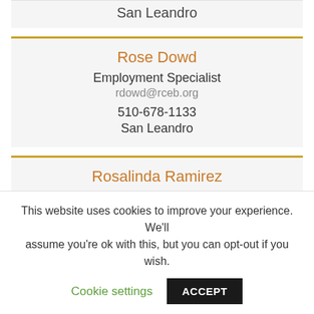San Leandro
Rose Dowd
Employment Specialist
rdowd@rceb.org
510-678-1133
San Leandro
Rosalinda Ramirez
Bilingual Secretary
This website uses cookies to improve your experience. We'll assume you're ok with this, but you can opt-out if you wish.
Cookie settings  ACCEPT